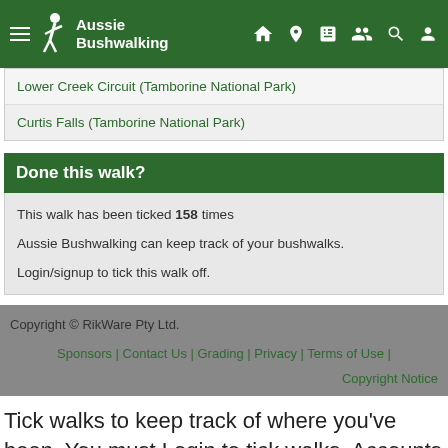Aussie Bushwalking
Lower Creek Circuit (Tamborine National Park)
Curtis Falls (Tamborine National Park)
Done this walk?
This walk has been ticked 158 times
Aussie Bushwalking can keep track of your bushwalks.
Login/signup to tick this walk off.
Copyright © RikWare Pty Ltd.
Sponsors | Contact Us | Grading | Privacy | Terms of Use |
Copyright Notice
Tick walks to keep track of where you've been. You must Login to tick walks. Accounts are 100% free so sign up if you don't have